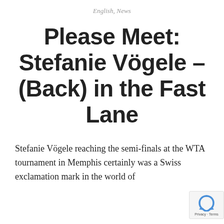English, News
Please Meet: Stefanie Vögele – (Back) in the Fast Lane
Stefanie Vögele reaching the semi-finals at the WTA tournament in Memphis certainly was a Swiss exclamation mark in the world of